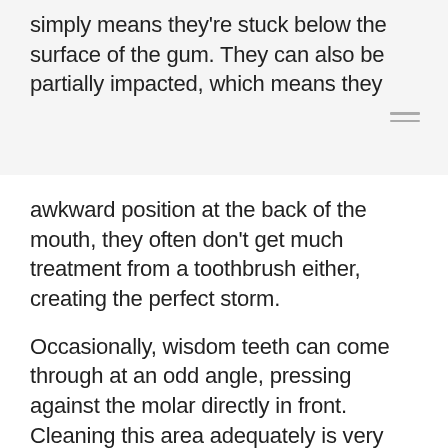simply means they're stuck below the surface of the gum. They can also be partially impacted, which means they
awkward position at the back of the mouth, they often don't get much treatment from a toothbrush either, creating the perfect storm.
Occasionally, wisdom teeth can come through at an odd angle, pressing against the molar directly in front. Cleaning this area adequately is very difficult. In this case, there is a chance of not only losing the wisdom tooth, but the molar next along as well.